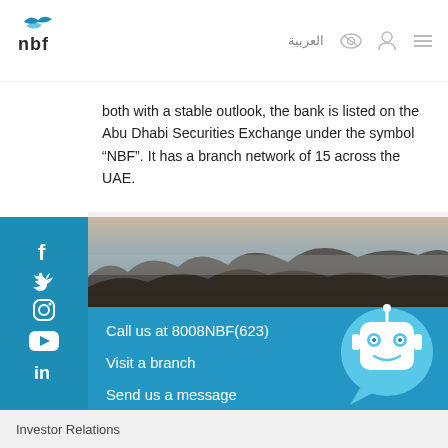[Figure (logo): NBF (National Bank of Fujairah) logo with stylized bird/wings above text 'nbf']
العربية  [eye icon]  [user icon]  [menu icon]
both with a stable outlook, the bank is listed on the Abu Dhabi Securities Exchange under the symbol “NBF”. It has a branch network of 15 across the UAE.
[Figure (photo): Background photo of rocky seascape with mist/fog]
Call us at 8008NBF(623)
Visit a branch
Send us a message
[Figure (illustration): Chatbot robot mascot in a speech bubble, light blue color scheme]
Investor Relations